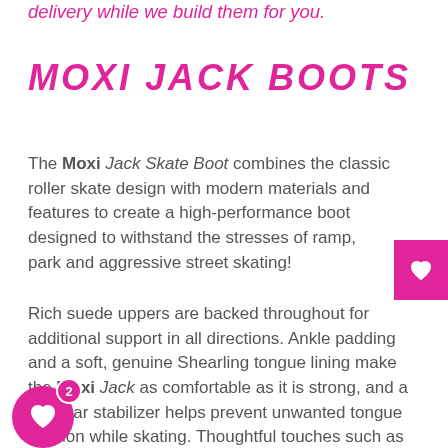delivery while we build them for you.
MOXI JACK BOOTS
The Moxi Jack Skate Boot combines the classic roller skate design with modern materials and features to create a high-performance boot designed to withstand the stresses of ramp, park and aggressive street skating!
Rich suede uppers are backed throughout for additional support in all directions. Ankle padding and a soft, genuine Shearling tongue lining make the Moxi Jack as comfortable as it is strong, and a lace bar stabilizer helps prevent unwanted tongue rotation while skating. Thoughtful touches such as solid metal [eyelets,] wax-infused laces and a unique backstay design [featuring] the signature Moxi “M” round out the Jack and ensure that no detail is overlooked. Stiff and [supportive, yet remarkably] 10 hours of break-in time...